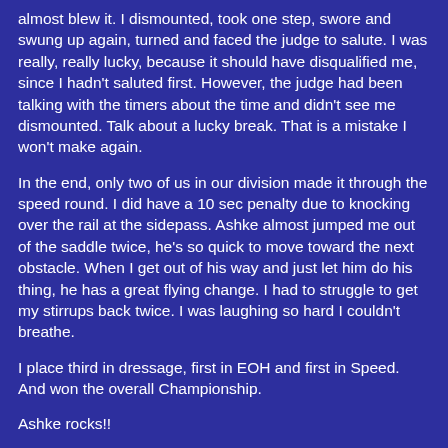almost blew it. I dismounted, took one step, swore and swung up again, turned and faced the judge to salute. I was really, really lucky, because it should have disqualified me, since I hadn't saluted first. However, the judge had been talking with the timers about the time and didn't see me dismounted. Talk about a lucky break. That is a mistake I won't make again.
In the end, only two of us in our division made it through the speed round. I did have a 10 sec penalty due to knocking over the rail at the sidepass. Ashke almost jumped me out of the saddle twice, he's so quick to move toward the next obstacle. When I get out of his way and just let him do his thing, he has a great flying change. I had to struggle to get my stirrups back twice. I was laughing so hard I couldn't breathe.
I place third in dressage, first in EOH and first in Speed. And won the overall Championship.
Ashke rocks!!